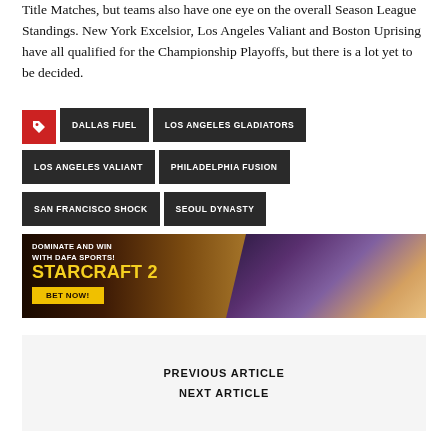Title Matches, but teams also have one eye on the overall Season League Standings. New York Excelsior, Los Angeles Valiant and Boston Uprising have all qualified for the Championship Playoffs, but there is a lot yet to be decided.
DALLAS FUEL
LOS ANGELES GLADIATORS
LOS ANGELES VALIANT
PHILADELPHIA FUSION
SAN FRANCISCO SHOCK
SEOUL DYNASTY
[Figure (illustration): Advertisement banner for DAFA Sports StarCraft 2 betting. Dark background with game characters. Text: DOMINATE AND WIN WITH DAFA SPORTS! STARCRAFT 2 BET NOW!]
PREVIOUS ARTICLE
NEXT ARTICLE